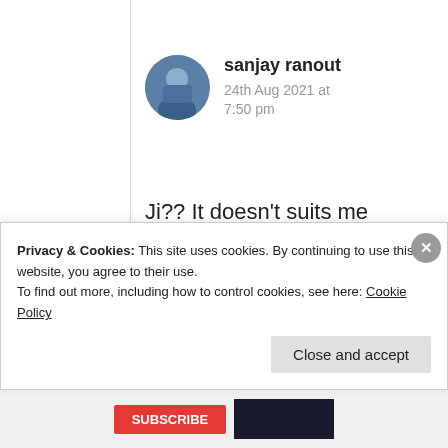[Figure (photo): Circular avatar photo of a young man in a blue shirt, styled as a profile picture]
sanjay ranout
24th Aug 2021 at 7:50 pm
Ji?? It doesn’t suits me madam😉,, anyways it’s all my pleasure Suma
★ Liked by 4 people
Privacy & Cookies: This site uses cookies. By continuing to use this website, you agree to their use.
To find out more, including how to control cookies, see here: Cookie Policy
Close and accept